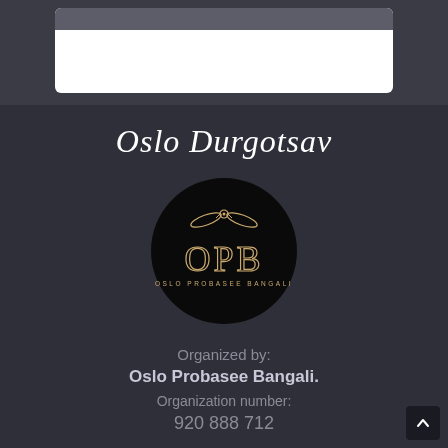[Figure (screenshot): Top section with dark grey background and a white card with a rounded dark grey bar across the top]
Oslo Durgotsav
[Figure (logo): Circular black logo with OPB text and decorative icon, subtitle reads OSLO PROBASEE BANGALI]
Organized by:
Oslo Probasee Bangali.
Organization number:
920 888 712